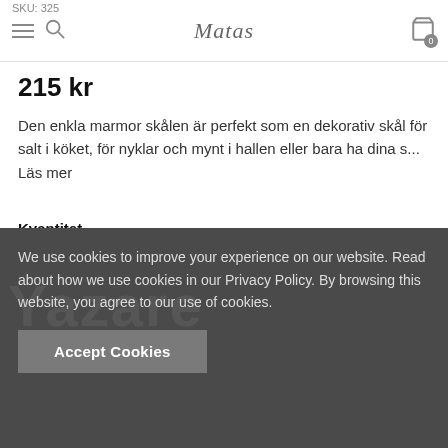Matas — navigation header with hamburger menu, search, logo, and cart icon (0 items)
SKU: 325
215 kr
Den enkla marmor skålen är perfekt som en dekorativ skål för salt i köket, för nyklar och mynt i hallen eller bara ha dina s... Läs mer
Kvantitet
1
Delsumma:   215 kr
We use cookies to improve your experience on our website. Read about how we use cookies in our Privacy Policy. By browsing this website, you agree to our use of cookies.
Accept Cookies